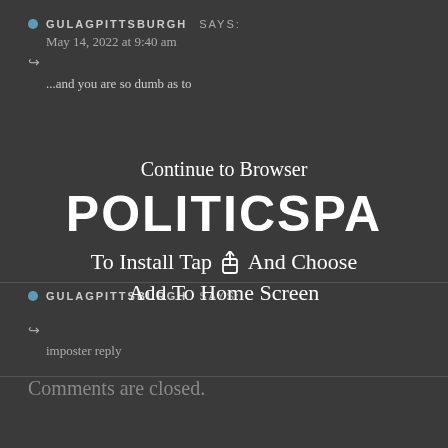GULAGPITTSBURGH SAYS:
May 14, 2022 at 9:40 am
...and you are so dumb as to Continue to Browser
[Figure (screenshot): PWA install prompt overlay showing 'Continue to Browser', site title 'POLITICSPA', and 'To Install Tap [share icon] And Choose Add To Home Screen']
GULAGPITTSBURGH SAYS:
imposter reply
Comments are closed.